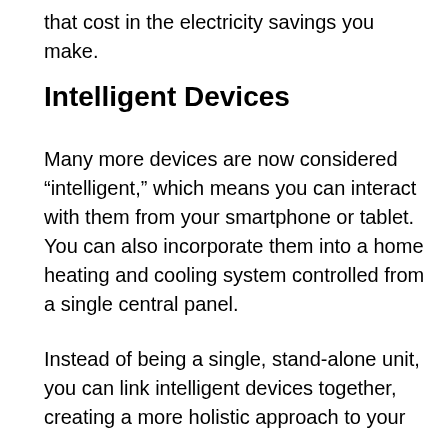that cost in the electricity savings you make.
Intelligent Devices
Many more devices are now considered “intelligent,” which means you can interact with them from your smartphone or tablet. You can also incorporate them into a home heating and cooling system controlled from a single central panel.
Instead of being a single, stand-alone unit, you can link intelligent devices together, creating a more holistic approach to your